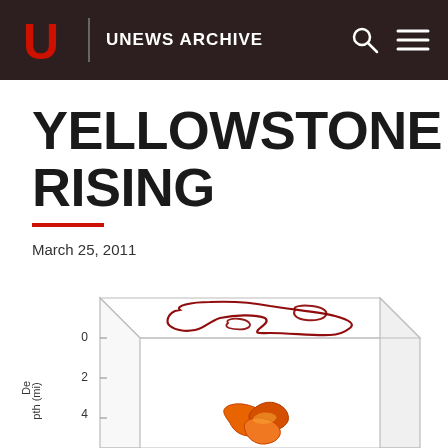UNEWS ARCHIVE
YELLOWSTONE RISING
March 25, 2011
[Figure (engineering-diagram): 3D scientific diagram showing the Yellowstone magma chamber cross-section. A dark red contour outline on the top surface at depth 0 shows the caldera outline, with inner contour showing inner chamber. Below at depths 2-4 miles, orange-red 3D rendered magma body shapes are visible rising upward. Y-axis labeled 'Depth (mi)' with tick marks at 0, 2, 4.]